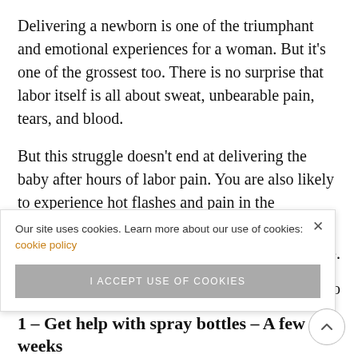Delivering a newborn is one of the triumphant and emotional experiences for a woman. But it's one of the grossest too. There is no surprise that labor itself is all about sweat, unbearable pain, tears, and blood.
But this struggle doesn't end at delivering the baby after hours of labor pain. You are also likely to experience hot flashes and pain in the postpartum period. Even as per Dr. Brain Shafa, you may see some unexpected changes in your body for weeks after delivery. There is a good chance that all of them [are quite bothersome].
[...practices to...]
1 – Get help with spray bottles – A few weeks
Our site uses cookies. Learn more about our use of cookies: cookie policy
I ACCEPT USE OF COOKIES